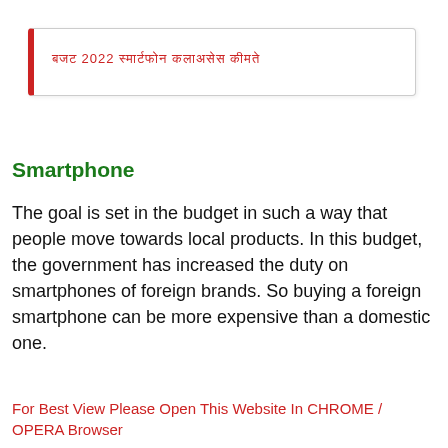[Figure (other): Decorative banner box with a red left border containing Hindi/Devanagari script text in red]
Smartphone
The goal is set in the budget in such a way that people move towards local products. In this budget, the government has increased the duty on smartphones of foreign brands. So buying a foreign smartphone can be more expensive than a domestic one.
For Best View Please Open This Website In CHROME / OPERA Browser